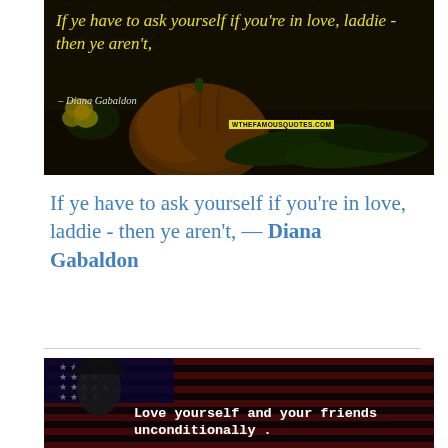[Figure (photo): Dark background image with pumpkin and zucchini vegetables, overlaid with yellow italic quote text: 'If ye have to ask yourself if you're in love, laddie - then ye aren't,' with attribution '- Diana Gabaldon' and watermark 'WTHEFAMOUSQUOTES.COM']
If ye have to ask yourself if you're in love, laddie - then ye aren't, — Diana Gabaldon
[Figure (photo): Dark image featuring an American flag with stars and red/white stripes, and a figure wearing a colonial-style hat, overlaid with white bold monospace text: 'Love yourself and your friends unconditionally .']